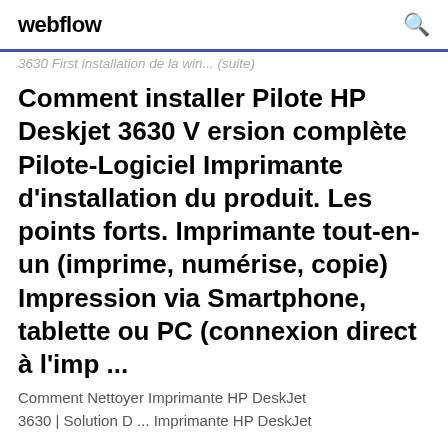webflow
3630 First installation de la win... (suite)
Comment installer Pilote HP Deskjet 3630 V ersion complète Pilote-Logiciel Imprimante d'installation du produit. Les points forts. Imprimante tout-en-un (imprime, numérise, copie) Impression via Smartphone, tablette ou PC (connexion direct à l'imp ...
Comment Nettoyer Imprimante HP DeskJet 3630 | Solution D ... Imprimante HP DeskJet